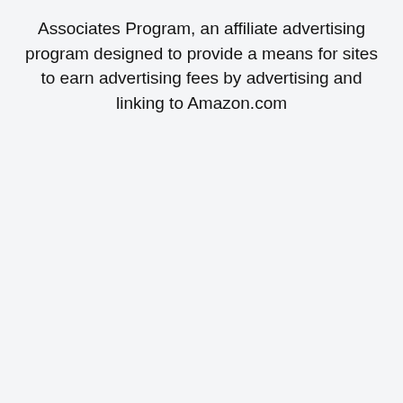Associates Program, an affiliate advertising program designed to provide a means for sites to earn advertising fees by advertising and linking to Amazon.com